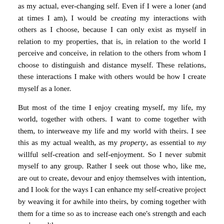as my actual, ever-changing self. Even if I were a loner (and at times I am), I would be creating my interactions with others as I choose, because I can only exist as myself in relation to my properties, that is, in relation to the world I perceive and conceive, in relation to the others from whom I choose to distinguish and distance myself. These relations, these interactions I make with others would be how I create myself as a loner.
But most of the time I enjoy creating myself, my life, my world, together with others. I want to come together with them, to interweave my life and my world with theirs. I see this as my actual wealth, as my property, as essential to my willful self-creation and self-enjoyment. So I never submit myself to any group. Rather I seek out those who, like me, are out to create, devour and enjoy themselves with intention, and I look for the ways I can enhance my self-creative project by weaving it for awhile into theirs, by coming together with them for a time so as to increase each one's strength and each one's wealth.
In the worlds you and I share, the inter-individual worlds where your and my experiences correspond, each of us encounters a lot that stands in the way of our willful self-creation and self-enjoyment, that acts to suppress self-activity and to impose roles, identities, and static relationships on us, to make us parts of some